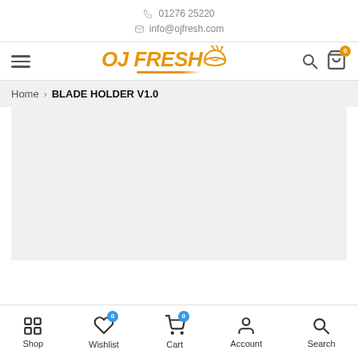📞 01276 25220  ✉ info@ojfresh.com
[Figure (logo): OJ Fresh logo with orange text and fruit bowl graphic]
Home > BLADE HOLDER V1.0
[Figure (photo): Product image area (empty/loading) for BLADE HOLDER V1.0]
Shop | Wishlist 0 | Cart 0 | Account | Search